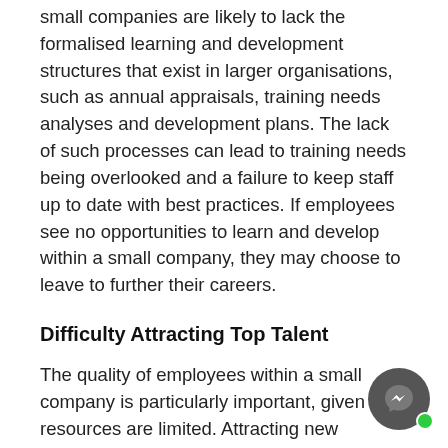small companies are likely to lack the formalised learning and development structures that exist in larger organisations, such as annual appraisals, training needs analyses and development plans. The lack of such processes can lead to training needs being overlooked and a failure to keep staff up to date with best practices. If employees see no opportunities to learn and develop within a small company, they may choose to leave to further their careers.
Difficulty Attracting Top Talent
The quality of employees within a small company is particularly important, given that resources are limited. Attracting new employees of the correct calibre can be a challenge for small companies if they find